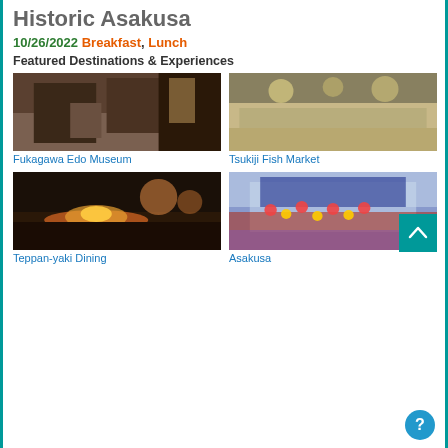Historic Asakusa
10/26/2022 Breakfast, Lunch
Featured Destinations & Experiences
[Figure (photo): Interior of Fukagawa Edo Museum showing traditional Edo period building interior with wooden stage and hanging kimono]
Fukagawa Edo Museum
[Figure (photo): Tsukiji Fish Market with crowds of shoppers browsing fish and seafood displays on tables outdoors]
Tsukiji Fish Market
[Figure (photo): Teppan-yaki Dining scene with chef cooking on iron griddle with flames, diners watching and photographing]
Teppan-yaki Dining
[Figure (photo): Asakusa temple gate decorated with colorful lanterns and ornaments, busy with crowds of visitors]
Asakusa